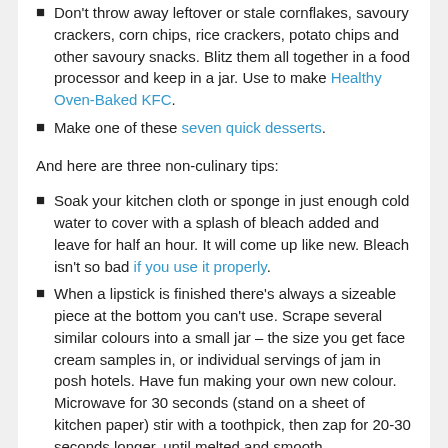Don't throw away leftover or stale cornflakes, savoury crackers, corn chips, rice crackers, potato chips and other savoury snacks. Blitz them all together in a food processor and keep in a jar. Use to make Healthy Oven-Baked KFC.
Make one of these seven quick desserts.
And here are three non-culinary tips:
Soak your kitchen cloth or sponge in just enough cold water to cover with a splash of bleach added and leave for half an hour. It will come up like new. Bleach isn't so bad if you use it properly.
When a lipstick is finished there's always a sizeable piece at the bottom you can't use. Scrape several similar colours into a small jar – the size you get face cream samples in, or individual servings of jam in posh hotels. Have fun making your own new colour. Microwave for 30 seconds (stand on a sheet of kitchen paper) stir with a toothpick, then zap for 20-30 seconds longer, until melted and smooth.